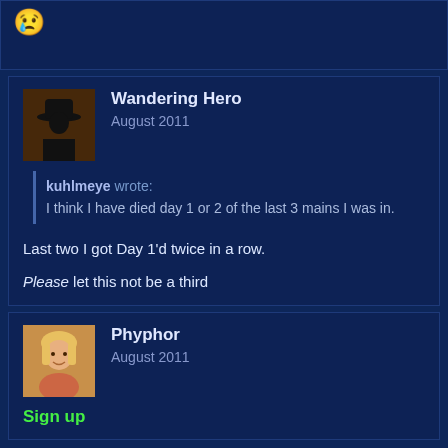[Figure (illustration): Sad emoji face icon in top bar]
Wandering Hero
August 2011
kuhlmeye wrote: I think I have died day 1 or 2 of the last 3 mains I was in.
Last two I got Day 1'd twice in a row.
Please let this not be a third
Phyphor
August 2011
Sign up